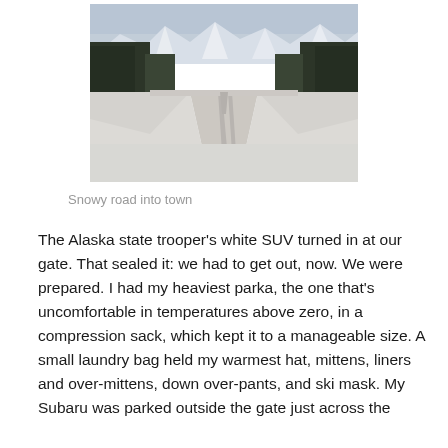[Figure (photo): A snowy road stretching into the distance through boreal forest with snow-capped mountains in the background under a pale winter sky.]
Snowy road into town
The Alaska state trooper’s white SUV turned in at our gate. That sealed it: we had to get out, now. We were prepared. I had my heaviest parka, the one that’s uncomfortable in temperatures above zero, in a compression sack, which kept it to a manageable size. A small laundry bag held my warmest hat, mittens, liners and over-mittens, down over-pants, and ski mask. My Subaru was parked outside the gate just across the